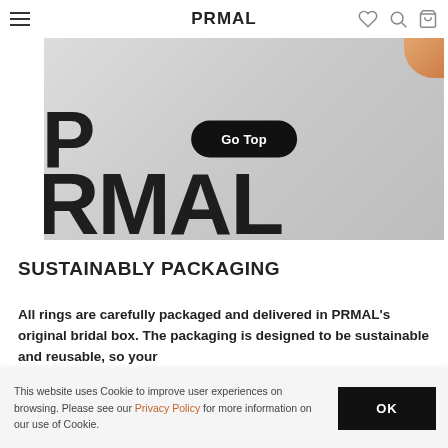PRMAL
[Figure (photo): Close-up photo of PRMAL branded packaging/box with large black PRMAL lettering on white surface, with a 'Go Top' button overlay]
SUSTAINABLY PACKAGING
All rings are carefully packaged and delivered in PRMAL's original bridal box. The packaging is designed to be sustainable and reusable, so your
This website uses Cookie to improve user experiences on browsing. Please see our Privacy Policy for more information on our use of Cookie.